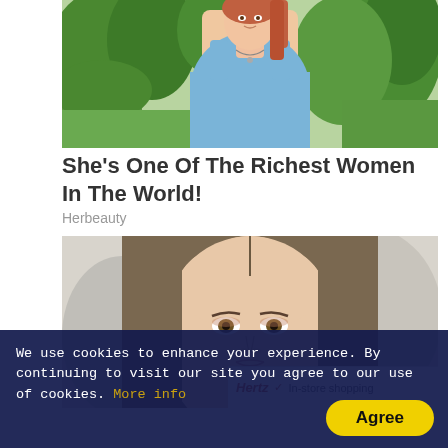[Figure (photo): Young woman in blue sleeveless top with necklace standing outdoors with green trees/bushes in background]
She's One Of The Richest Women In The World!
Herbeauty
[Figure (photo): Close-up portrait of a young woman with straight brown hair, looking at camera, blurred background. Partially overlapped by an ad snippet showing 'In-store shopping' text.]
We use cookies to enhance your experience. By continuing to visit our site you agree to our use of cookies. More info